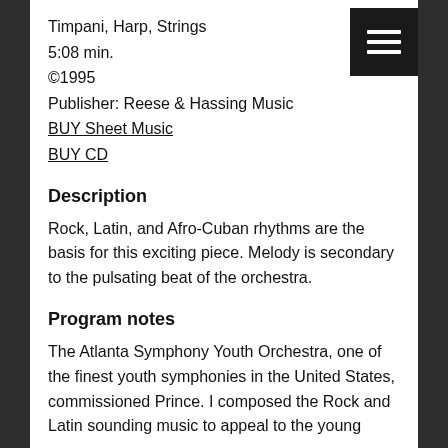Timpani, Harp, Strings
5:08 min.
©1995
Publisher: Reese & Hassing Music
BUY Sheet Music
BUY CD
Description
Rock, Latin, and Afro-Cuban rhythms are the basis for this exciting piece. Melody is secondary to the pulsating beat of the orchestra.
Program notes
The Atlanta Symphony Youth Orchestra, one of the finest youth symphonies in the United States, commissioned Prince. I composed the Rock and Latin sounding music to appeal to the young